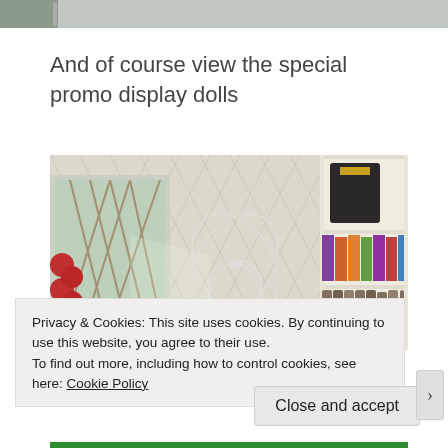[Figure (photo): Top partial image of a surface, cropped, showing textured gray/stone background]
And of course view the special promo display dolls
[Figure (photo): Interior of a shop showing a decorative wall with diamond lattice pattern and butterfly motif, shelves on the right stocked with colorful products, a window with lattice on the left, and a person partially visible at the bottom]
Privacy & Cookies: This site uses cookies. By continuing to use this website, you agree to their use.
To find out more, including how to control cookies, see here: Cookie Policy
Close and accept